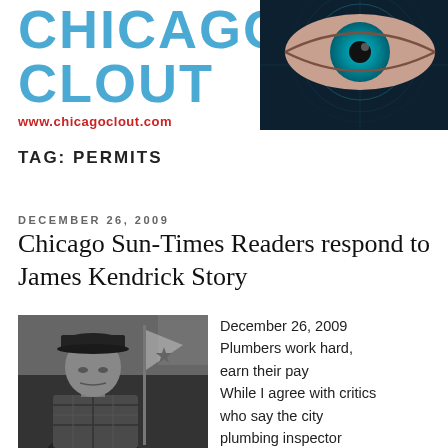[Figure (logo): Chicago Clout logo with blue text and www.chicagoclout.com URL, alongside a cyan eye with digital circuit overlay on dark background]
TAG: PERMITS
DECEMBER 26, 2009
Chicago Sun-Times Readers respond to James Kendrick Story
[Figure (photo): Black and white photo of a man wearing a cap, looking upward, with a flag with a star visible behind him]
December 26, 2009 Plumbers work hard, earn their pay While I agree with critics who say the city plumbing inspector accused of violating